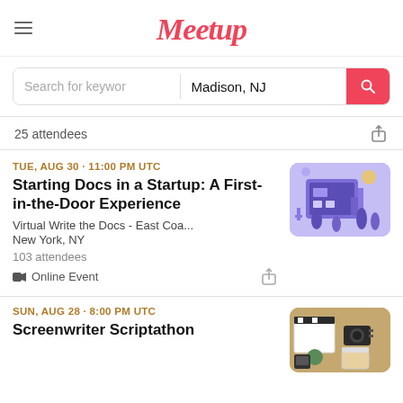Meetup
Search for keyword  |  Madison, NJ
25 attendees
TUE, AUG 30 · 11:00 PM UTC
Starting Docs in a Startup: A First-in-the-Door Experience
Virtual Write the Docs - East Coa...
New York, NY
103 attendees
📹 Online Event
[Figure (illustration): Purple/lavender illustration of people working at a digital storefront or office building]
SUN, AUG 28 · 8:00 PM UTC
Screenwriter Scriptathon
[Figure (photo): Photo of filmmaking equipment: clapperboard, notebook, camera, small succulent plant on a wooden surface]